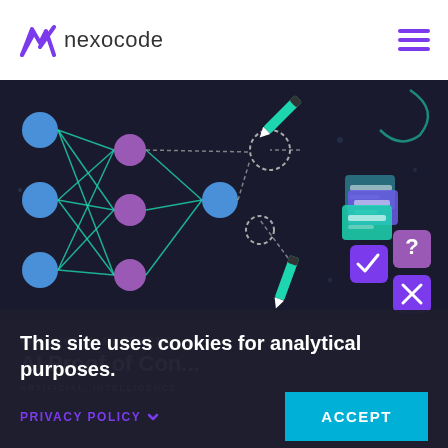nexocode
[Figure (illustration): Dark background illustration showing a neural network diagram on the left with blue and purple nodes connected by green/teal lines, and on the right side stacked UI card icons in teal/purple and purple rounded squares with checkmark, question mark, and X symbols. Two pencil/pen icons point to the neural network output nodes.]
PRODUCT MANAGEMENT
AI Proof of Concept: The Benefits of
ARTIFICIAL INTELLIGENCE
This site uses cookies for analytical purposes.
PRIVACY POLICY
ACCEPT